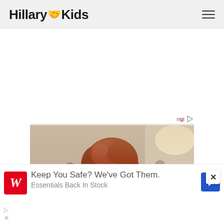HillaryKids
[Figure (photo): A woman with red curly hair wearing a dark sparkly dress and a necklace, smiling, in a blurred indoor setting — scene from the movie Titanic (Kate Winslet as Rose)]
[Figure (screenshot): Advertisement overlay: Walgreens logo with text 'Keep You Safe? We've Got Them.' and a blue diamond arrow navigation icon, with a subline reading 'Essentials Back In Stock']
mgid